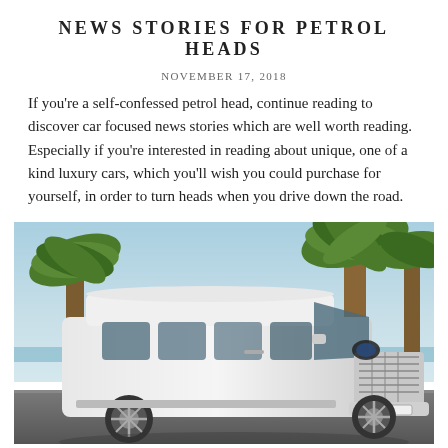NEWS STORIES FOR PETROL HEADS
NOVEMBER 17, 2018
If you're a self-confessed petrol head, continue reading to discover car focused news stories which are well worth reading. Especially if you're interested in reading about unique, one of a kind luxury cars, which you'll wish you could purchase for yourself, in order to turn heads when you drive down the road.
[Figure (photo): A white luxury Mercedes-Benz Sprinter van parked on a road with palm trees and a blue sky in the background.]